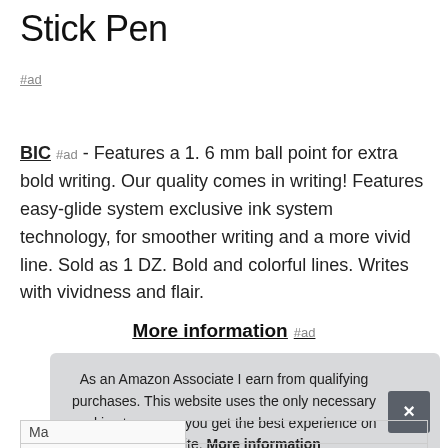Stick Pen
#ad
BIC #ad - Features a 1. 6 mm ball point for extra bold writing. Our quality comes in writing! Features easy-glide system exclusive ink system technology, for smoother writing and a more vivid line. Sold as 1 DZ. Bold and colorful lines. Writes with vividness and flair.
More information #ad
As an Amazon Associate I earn from qualifying purchases. This website uses the only necessary cookies to ensure you get the best experience on our website. More information
| Ma |  |
| Height | 2.6 Inches |